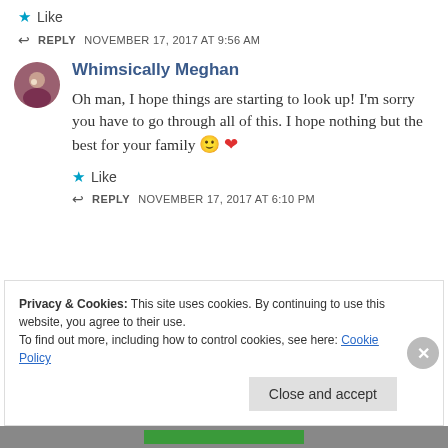Like
REPLY  NOVEMBER 17, 2017 AT 9:56 AM
Whimsically Meghan
Oh man, I hope things are starting to look up! I'm sorry you have to go through all of this. I hope nothing but the best for your family 🙂 ❤
Like
REPLY  NOVEMBER 17, 2017 AT 6:10 PM
Privacy & Cookies: This site uses cookies. By continuing to use this website, you agree to their use.
To find out more, including how to control cookies, see here: Cookie Policy
Close and accept